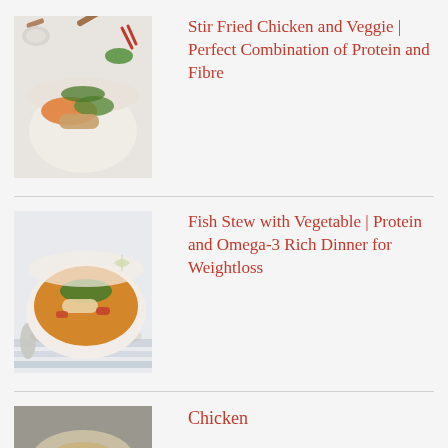[Figure (photo): A bowl of stir fried chicken and vegetables with carrots, green beans, herbs, and sesame seeds garnish. Red chilis and green herbs visible in the background.]
Stir Fried Chicken and Veggie | Perfect Combination of Protein and Fibre
[Figure (photo): A bowl of golden fish stew with vegetables including red peppers, garnished with fresh cilantro/parsley. Lime wedges on the side, striped napkin underneath.]
Fish Stew with Vegetable | Protein and Omega-3 Rich Dinner for Weightloss
[Figure (photo): Partial view of a chicken dish, cropped at bottom of page.]
Chicken